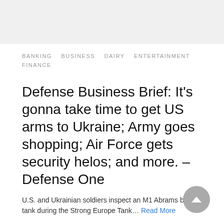[Figure (other): Gray placeholder image banner at top of page]
BANKING   BUSINESS   DAIRY   ENTERTAINMENT   FINANCE
Defense Business Brief: It's gonna take time to get US arms to Ukraine; Army goes shopping; Air Force gets security helos; and more. – Defense One
U.S. and Ukrainian soldiers inspect an M1 Abrams battle tank during the Strong Europe Tank… Read More
3 hours ago